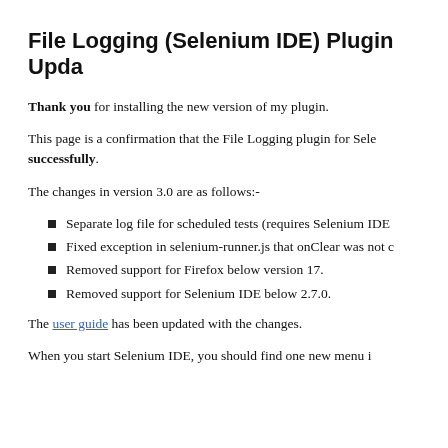File Logging (Selenium IDE) Plugin Upda…
Thank you for installing the new version of my plugin.
This page is a confirmation that the File Logging plugin for Selenium IDE was installed successfully.
The changes in version 3.0 are as follows:-
Separate log file for scheduled tests (requires Selenium IDE…
Fixed exception in selenium-runner.js that onClear was not c…
Removed support for Firefox below version 17.
Removed support for Selenium IDE below 2.7.0.
The user guide has been updated with the changes.
When you start Selenium IDE, you should find one new menu i…